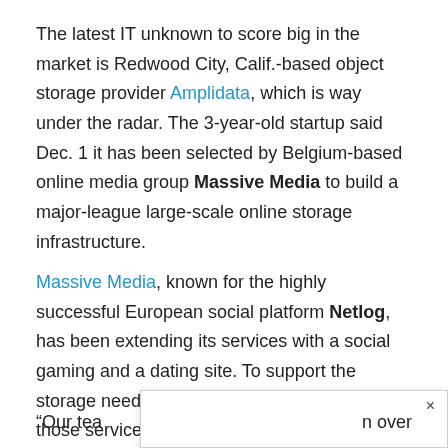The latest IT unknown to score big in the market is Redwood City, Calif.-based object storage provider Amplidata, which is way under the radar. The 3-year-old startup said Dec. 1 it has been selected by Belgium-based online media group Massive Media to build a major-league large-scale online storage infrastructure.
Massive Media, known for the highly successful European social platform Netlog, has been extending its services with a social gaming and a dating site. To support the storage needs of the fast-growing user base of those services, Massive Media chose Amplidata's AmpliStor to build a continuously available, highly scalable storage platform. The infrastructure will store photos, movies and files of millions of Massive Media users.
“Our tea ... n over